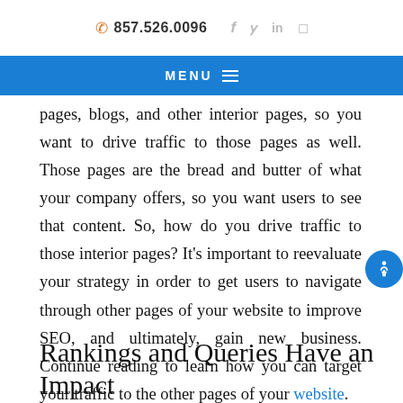857.526.0096
MENU
pages, blogs, and other interior pages, so you want to drive traffic to those pages as well. Those pages are the bread and butter of what your company offers, so you want users to see that content. So, how do you drive traffic to those interior pages? It’s important to reevaluate your strategy in order to get users to navigate through other pages of your website to improve SEO, and ultimately, gain new business. Continue reading to learn how you can target your traffic to the other pages of your website.
Rankings and Queries Have an Impact